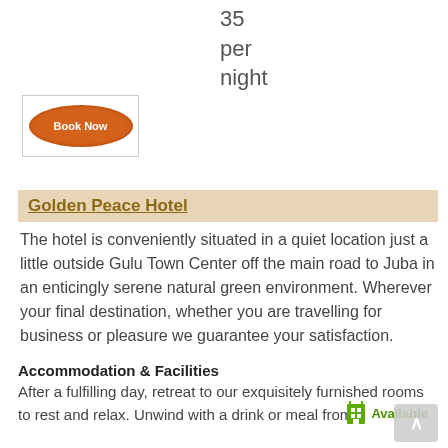35
per
night
[Figure (other): Book Now button — orange ellipse with dotted border and white text 'Book Now']
Golden Peace Hotel
Available
The hotel is conveniently situated in a quiet location just a little outside Gulu Town Center off the main road to Juba in an enticingly serene natural green environment. Wherever your final destination, whether you are travelling for business or pleasure we guarantee your satisfaction.
Accommodation & Facilities
After a fulfilling day, retreat to our exquisitely furnished rooms to rest and relax. Unwind with a drink or meal from